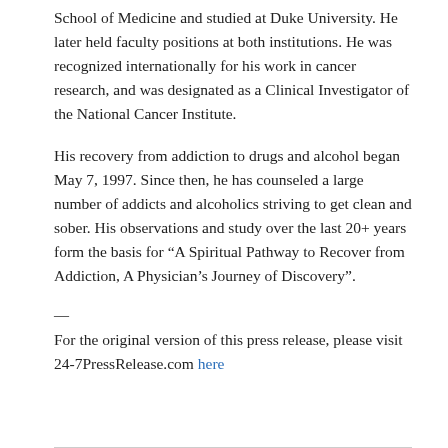School of Medicine and studied at Duke University. He later held faculty positions at both institutions. He was recognized internationally for his work in cancer research, and was designated as a Clinical Investigator of the National Cancer Institute.
His recovery from addiction to drugs and alcohol began May 7, 1997. Since then, he has counseled a large number of addicts and alcoholics striving to get clean and sober. His observations and study over the last 20+ years form the basis for “A Spiritual Pathway to Recover from Addiction, A Physician’s Journey of Discovery”.
—
For the original version of this press release, please visit 24-7PressRelease.com here